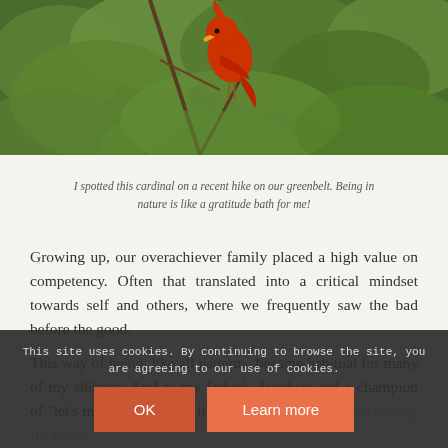[Figure (photo): A cardinal bird perched on branches with green leaves in the background]
I spotted this cardinal on a recent hike on our greenbelt. Being in nature is like a gratitude bath for me!
Growing up, our overachiever family placed a high value on competency. Often that translated into a critical mindset towards self and others, where we frequently saw the bad before the good.
This way of being, like all patterns, became habitual for many of my siblings. And as my father’s daughter and a champion of “let’s make it the best,” it’s a tendency I’ve been unraveling for years. When you walk into a room and see your child working on a s... partner at the end of the ... on, or receive an email update about a work project, do you see
This site uses cookies. By continuing to browse the site, you are agreeing to our use of cookies.